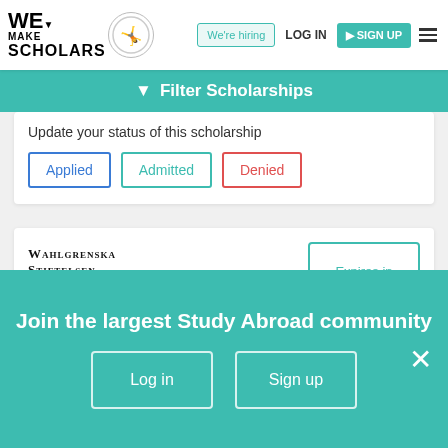[Figure (logo): We Make Scholars logo with acrobat figure in circle]
We're hiring
LOG IN
SIGN UP
Filter Scholarships
Update your status of this scholarship
Applied
Admitted
Denied
[Figure (logo): Wahlgrenska Stiftelsen logo]
Expires in
16 days
Wahlgrenska Foundation Scholarships 2022
Join the largest Study Abroad community
Log in
Sign up